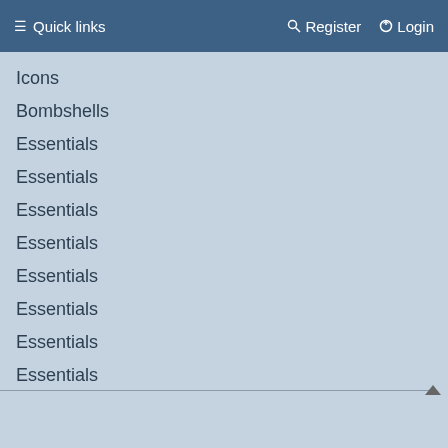≡ Quick links   Register   Login
Icons
Bombshells
Essentials
Essentials
Essentials
Essentials
Essentials
Essentials
Essentials
Essentials